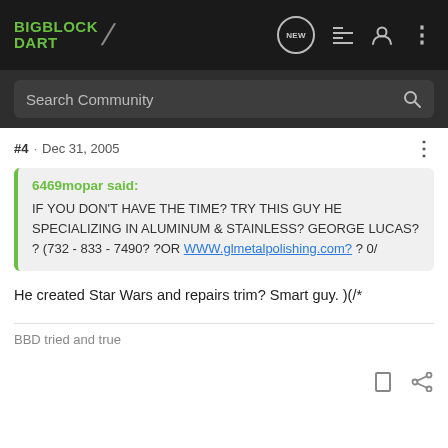BIGBLOCK DART
Search Community
#4 · Dec 31, 2005
6469mopar said: IF YOU DON'T HAVE THE TIME? TRY THIS GUY HE SPECIALIZING IN ALUMINUM & STAINLESS? GEORGE LUCAS? ? (732 - 833 - 7490? ?OR WWW.glmetalpolishing.com? ? 0/
He created Star Wars and repairs trim? Smart guy. )(/*
BBD tried and true